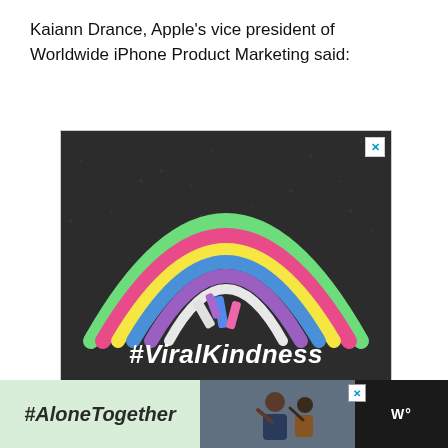Kaiann Drance, Apple's vice president of Worldwide iPhone Product Marketing said:
[Figure (photo): Advertisement image showing a colorful chalk-drawn rainbow on dark asphalt with chalk pieces in the center, overlaid with the text '#ViralKindness' in bold white italic letters. A small blue X close button is in the top-right corner.]
[Figure (photo): Bottom advertisement banner with dark background. Left portion has a light green section with '#AloneTogether' in bold italic text. Center shows a photo of a man and child waving. Right section shows a 'W+' logo in white on dark background. A small blue X close button is visible.]